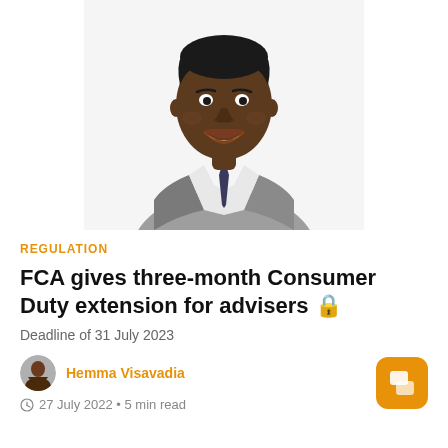[Figure (photo): Professional headshot photo of a young Black man in a grey suit with a dark tie, smiling, white background]
REGULATION
FCA gives three-month Consumer Duty extension for advisers 🔒
Deadline of 31 July 2023
Hemma Visavadia
27 July 2022 • 5 min read